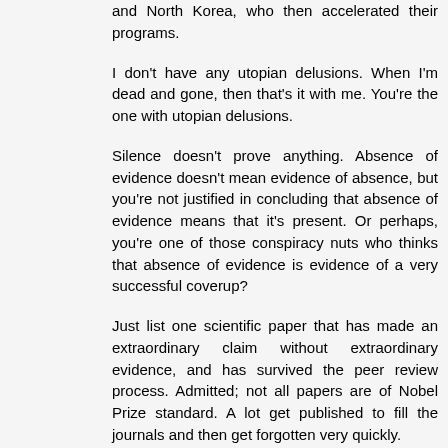and North Korea, who then accelerated their programs.
I don't have any utopian delusions. When I'm dead and gone, then that's it with me. You're the one with utopian delusions.
Silence doesn't prove anything. Absence of evidence doesn't mean evidence of absence, but you're not justified in concluding that absence of evidence means that it's present. Or perhaps, you're one of those conspiracy nuts who thinks that absence of evidence is evidence of a very successful coverup?
Just list one scientific paper that has made an extraordinary claim without extraordinary evidence, and has survived the peer review process. Admitted; not all papers are of Nobel Prize standard. A lot get published to fill the journals and then get forgotten very quickly.